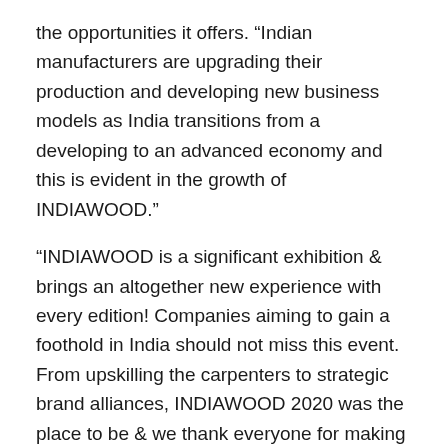the opportunities it offers. “Indian manufacturers are upgrading their production and developing new business models as India transitions from a developing to an advanced economy and this is evident in the growth of INDIAWOOD.”
“INDIAWOOD is a significant exhibition & brings an altogether new experience with every edition! Companies aiming to gain a foothold in India should not miss this event. From upskilling the carpenters to strategic brand alliances, INDIAWOOD 2020 was the place to be & we thank everyone for making the 11th Edition a grand success,” said Sonia Prashar, Managing Director NürnbergMesse India.
For the first time ever, INDIAWOOD 2020 featured NürnbergMesse’ s latest addition, INDIA MATTRESSTECH & UPHOLSTERY SUPPLIES EXPO which complemented